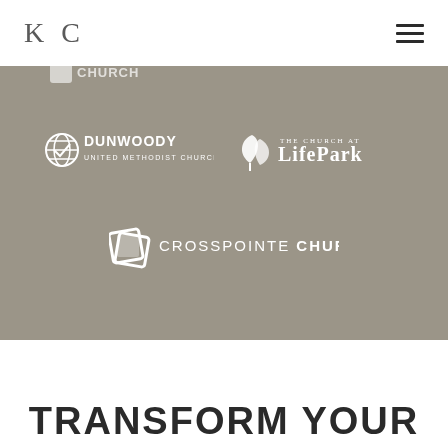KC
[Figure (logo): KC monogram/wordmark logo top left with hamburger menu icon top right]
[Figure (logo): Gray band background with church logos: Dunwoody United Methodist Church, The Church at LifePark, and Crosspointe Church]
TRANSFORM YOUR